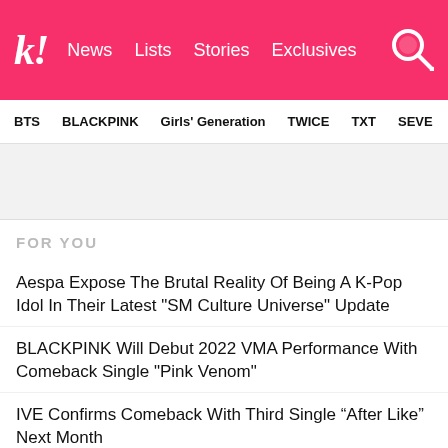kl! News Lists Stories Exclusives
BTS BLACKPINK Girls' Generation TWICE TXT SEVE
FOR YOU
Aespa Expose The Brutal Reality Of Being A K-Pop Idol In Their Latest "SM Culture Universe" Update
BLACKPINK Will Debut 2022 VMA Performance With Comeback Single "Pink Venom"
IVE Confirms Comeback With Third Single “After Like” Next Month
"Extraordinary Attorney Woo" Confirms Production Of Season 2
WINNER's Kang Seungyoon Spotted With Rumored